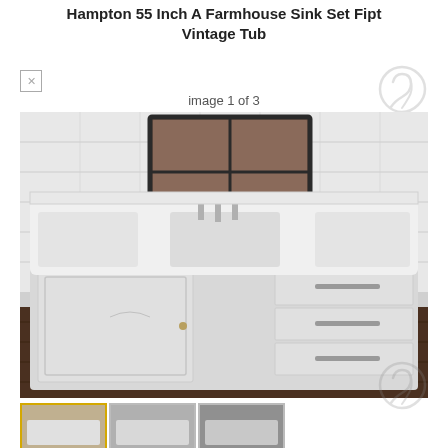Hampton 55 Inch A Farmhouse Sink Set Fipt Vintage Tub
image 1 of 3
[Figure (photo): White vintage farmhouse sink with chrome faucets installed on a white painted cabinet with drawers, set against white subway tile walls, dark wood floor.]
[Figure (photo): Thumbnail images of the farmhouse sink from different angles]